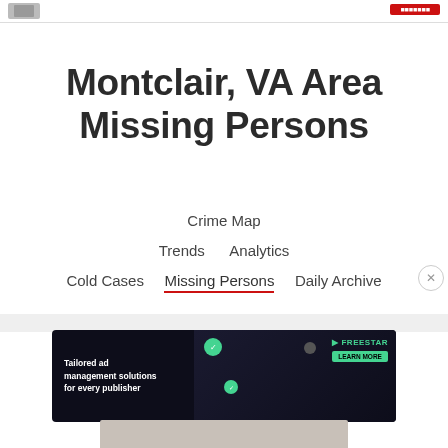Montclair, VA Area Missing Persons
Crime Map
Trends   Analytics
Cold Cases   Missing Persons   Daily Archive
[Figure (illustration): Tailored ad management solutions advertisement for Freestar with dark background, decorative graphics, and Learn More button]
[Figure (photo): Partial image visible at bottom of page]